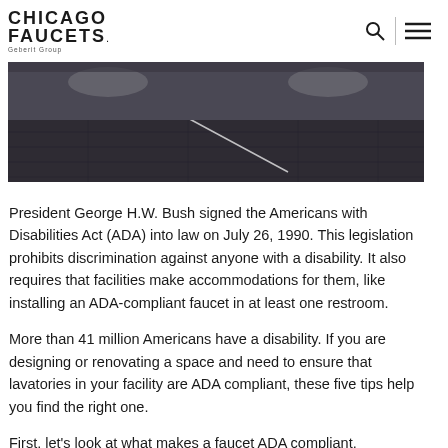CHICAGO FAUCETS Geberit Group
[Figure (photo): Photo of a bathroom floor with dark hardwood-style flooring and white fixtures, partially visible sink or toilet at the top]
President George H.W. Bush signed the Americans with Disabilities Act (ADA) into law on July 26, 1990. This legislation prohibits discrimination against anyone with a disability. It also requires that facilities make accommodations for them, like installing an ADA-compliant faucet in at least one restroom.
More than 41 million Americans have a disability. If you are designing or renovating a space and need to ensure that lavatories in your facility are ADA compliant, these five tips help you find the right one.
First, let's look at what makes a faucet ADA compliant. Understanding the requirements can help